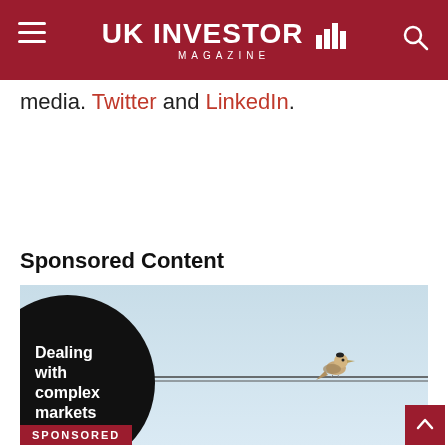UK INVESTOR MAGAZINE
media. Twitter and LinkedIn.
Sponsored Content
[Figure (photo): Sponsored content advertisement showing a bird perched on a wire against a light blue sky, with a black circle overlay reading 'Dealing with complex markets'. A red 'SPONSORED' label appears at bottom left.]